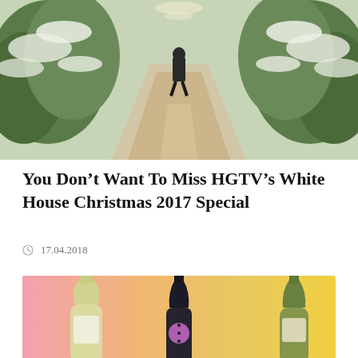[Figure (photo): A hallway corridor with snow-covered trees on both sides and a person walking away in the background, with a reflective floor]
You Don’t Want To Miss HGTV’s White House Christmas 2017 Special
17.04.2018
[Figure (photo): Three champagne/wine bottles displayed against a pink-to-yellow gradient background: a white wine bottle on the left, a dark bottle with purple foil in the center, and a champagne bottle on the right]